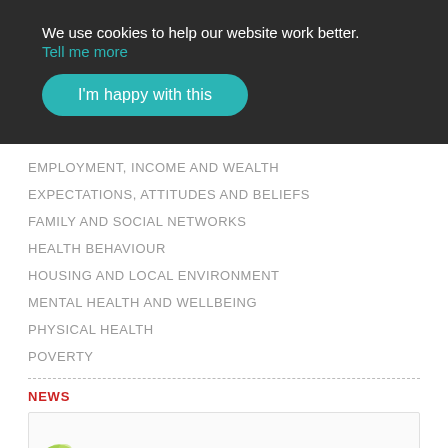We use cookies to help our website work better.
Tell me more
I'm happy with this
EMPLOYMENT, INCOME AND WEALTH
EXPECTATIONS, ATTITUDES AND BELIEFS
FAMILY AND SOCIAL NETWORKS
HEALTH BEHAVIOUR
HOUSING AND LOCAL ENVIRONMENT
MENTAL HEALTH AND WELLBEING
PHYSICAL HEALTH
POVERTY
NEWS
[Figure (photo): News article card with a small green/yellow image at bottom left]